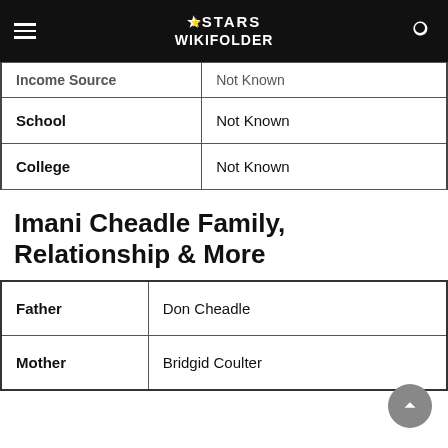Stars Wikifolder
| Income Source | Not Known |
| --- | --- |
| School | Not Known |
| College | Not Known |
Imani Cheadle Family, Relationship & More
| Father | Don Cheadle |
| Mother | Bridgid Coulter |